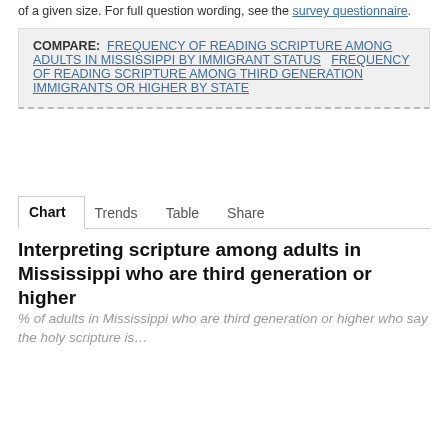of a given size. For full question wording, see the survey questionnaire.
COMPARE: FREQUENCY OF READING SCRIPTURE AMONG ADULTS IN MISSISSIPPI BY IMMIGRANT STATUS  FREQUENCY OF READING SCRIPTURE AMONG THIRD GENERATION IMMIGRANTS OR HIGHER BY STATE
Chart  Trends  Table  Share
Interpreting scripture among adults in Mississippi who are third generation or higher
% of adults in Mississippi who are third generation or higher who say the holy scripture is…
[Figure (bar-chart): Partial bar chart visible with y-axis labels at 100% and 80%]